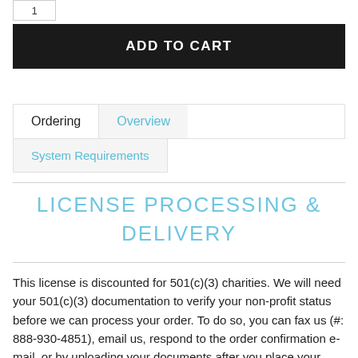[Figure (other): Quantity input box showing '1']
ADD TO CART
Ordering | Overview | System Requirements
LICENSE PROCESSING & DELIVERY
This license is discounted for 501(c)(3) charities. We will need your 501(c)(3) documentation to verify your non-profit status before we can process your order. To do so, you can fax us (#: 888-930-4851), email us, respond to the order confirmation e-mail, or by uploading your documents after you place your order (you